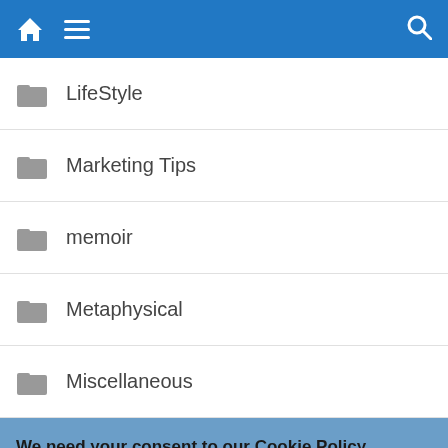Navigation bar with home icon, menu icon, and search icon
LifeStyle
Marketing Tips
memoir
Metaphysical
Miscellaneous
We need your consent to our Cookie Policy
We use cookies on our website to give you the most relevant experience by remembering your preferences and repeat visits. By clicking “Accept”, you consent to the use of ALL the cookies.
Do not sell my personal information.
Cookie Settings  Accept